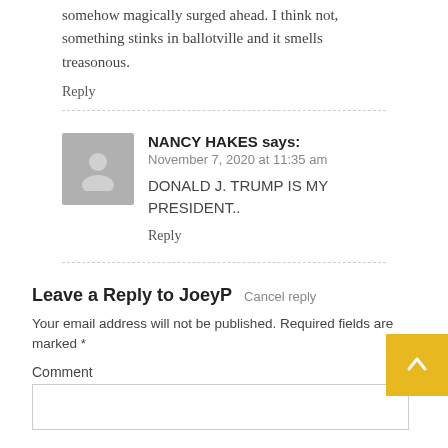somehow magically surged ahead. I think not, something stinks in ballotville and it smells treasonous.
Reply
NANCY HAKES says:
November 7, 2020 at 11:35 am
DONALD J. TRUMP IS MY PRESIDENT..
Reply
Leave a Reply to JoeyP  Cancel reply
Your email address will not be published. Required fields are marked *
Comment